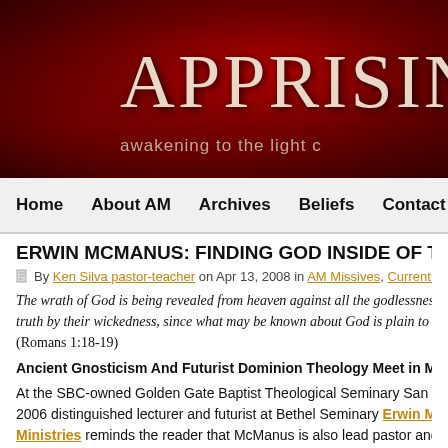[Figure (screenshot): Red dark website banner with the text 'APPRISING' in large serif font and subtitle 'awakening to the light c']
Home   About AM   Archives   Beliefs   Contact
ERWIN MCMANUS: FINDING GOD INSIDE OF T
By Ken Silva pastor-teacher on Apr 13, 2008 in AM Missives, Current Issues, Erwin M
The wrath of God is being revealed from heaven against all the godlessness a... truth by their wickedness, since what may be known about God is plain to the... (Romans 1:18-19)
Ancient Gnosticism And Futurist Dominion Theology Meet in McManus
At the SBC-owned Golden Gate Baptist Theological Seminary San Francisco 2006 distinguished lecturer and futurist at Bethel Seminary Erwin McManus Ministries reminds the reader that McManus is also lead pastor and cultural c